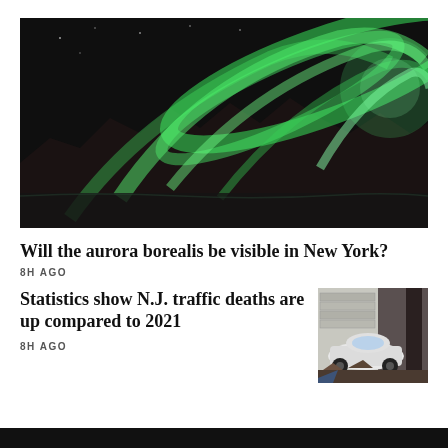[Figure (photo): Aurora borealis (northern lights) with green glowing bands over dark mountain silhouettes reflected in water at night]
Will the aurora borealis be visible in New York?
8H AGO
Statistics show N.J. traffic deaths are up compared to 2021
8H AGO
[Figure (photo): A crashed white BMW car against a pole or tree, with debris around it]